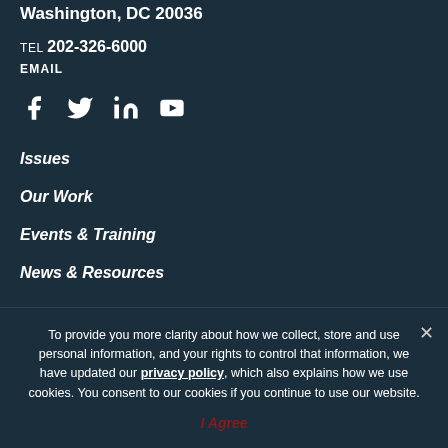Washington, DC 20036
TEL 202-326-6000
EMAIL
[Figure (illustration): Social media icons: Facebook, Twitter, LinkedIn, YouTube]
Issues
Our Work
Events & Training
News & Resources
To provide you more clarity about how we collect, store and use personal information, and your rights to control that information, we have updated our privacy policy, which also explains how we use cookies. You consent to our cookies if you continue to use our website.
I Agree